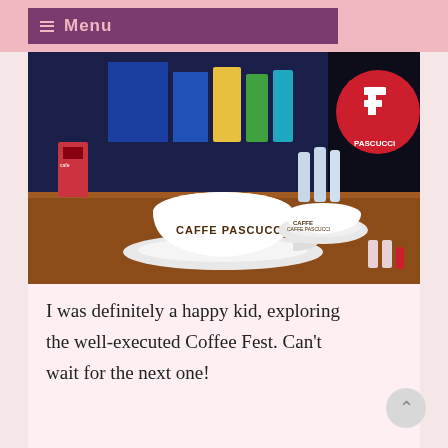≡ Menu
[Figure (photo): Photo of white Caffe Pascucci coffee cups on saucers on a wooden counter, with a red Pascucci logo sign visible in the background along with various bottles and products on shelves.]
I was definitely a happy kid, exploring the well-executed Coffee Fest. Can't wait for the next one!